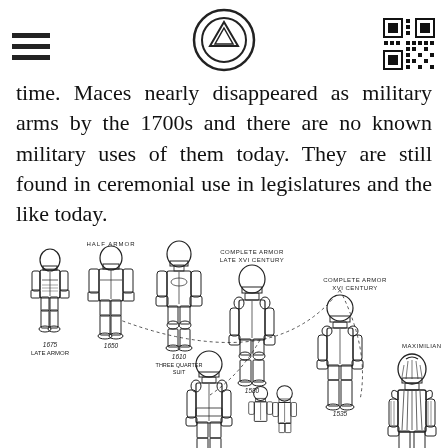[hamburger menu | logo | QR code]
time. Maces nearly disappeared as military arms by the 1700s and there are no known military uses of them today. They are still found in ceremonial use in legislatures and the like today.
[Figure (illustration): Historical evolution of armor diagram showing armored figures with labels: 1675 Late Armor, 1650, Half Armor, 1610 Three Quarter Suit, Complete Armor Late XVI Century, 1580, Complete Armor XVI Century, 1535, Maximilian (armored figure), Gothic, 1535 (bottom right). Figures are connected by dotted arc lines showing progression of armor styles from Maximilian through Gothic to later half armor styles.]